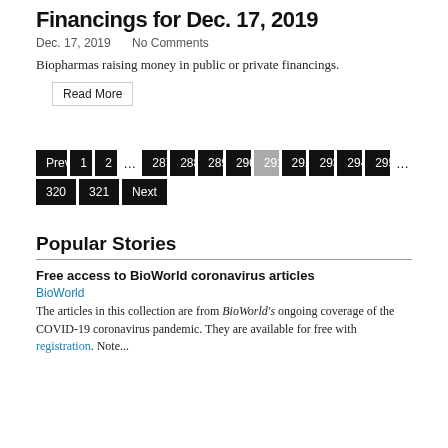Financings for Dec. 17, 2019
Dec. 17, 2019   No Comments
Biopharmas raising money in public or private financings.
Read More
Previous 1 2 … 287 288 289 290 291 292 293 294 295 … 320 321 Next
Popular Stories
Free access to BioWorld coronavirus articles
BioWorld
The articles in this collection are from BioWorld's ongoing coverage of the COVID-19 coronavirus pandemic. They are available for free with registration. Note...